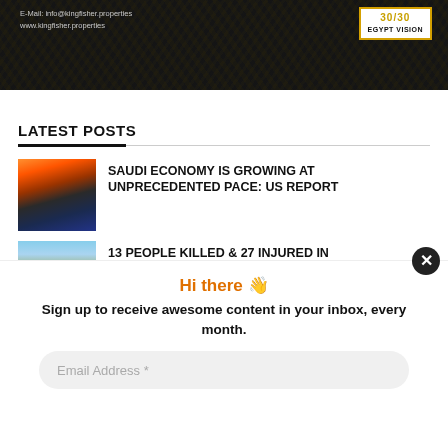[Figure (photo): Dark banner with Egyptian hieroglyphic texture. Text: E-Mail: info@kingfisher.properties, www.kingfisher.properties. Logo top right: EGYPT VISION with gold border.]
LATEST POSTS
[Figure (photo): City skyline at night/dusk with orange-lit towers, thumbnail for Saudi economy article.]
SAUDI ECONOMY IS GROWING AT UNPRECEDENTED PACE: US REPORT
[Figure (photo): Landscape thumbnail for second article.]
13 PEOPLE KILLED & 27 INJURED IN
Hi there 👋
Sign up to receive awesome content in your inbox, every month.
Email Address *